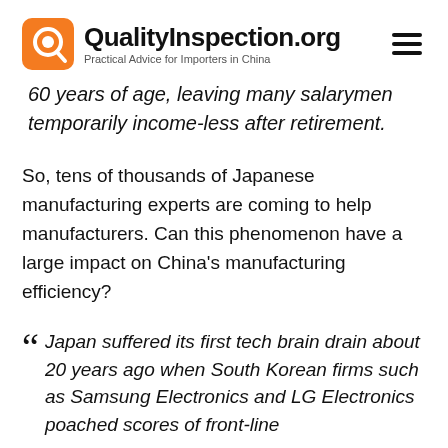QualityInspection.org – Practical Advice for Importers in China
60 years of age, leaving many salarymen temporarily income-less after retirement.
So, tens of thousands of Japanese manufacturing experts are coming to help manufacturers. Can this phenomenon have a large impact on China's manufacturing efficiency?
"Japan suffered its first tech brain drain about 20 years ago when South Korean firms such as Samsung Electronics and LG Electronics poached scores of front-line